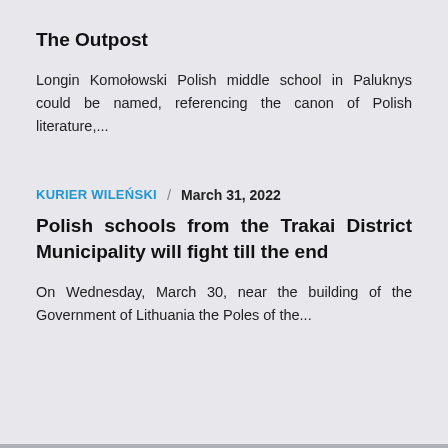The Outpost
Longin Komołowski Polish middle school in Paluknys could be named, referencing the canon of Polish literature,...
KURIER WILEŃSKI / March 31, 2022
Polish schools from the Trakai District Municipality will fight till the end
On Wednesday, March 30, near the building of the Government of Lithuania the Poles of the...